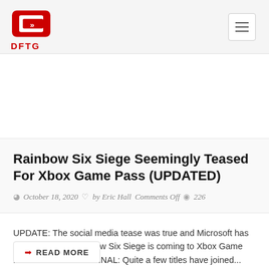DFTG
Rainbow Six Siege Seemingly Teased For Xbox Game Pass (UPDATED)
October 18, 2020  by Eric Hall  Comments Off  226
UPDATE: The social media tease was true and Microsoft has now confirmed Rainbow Six Siege is coming to Xbox Game Pass this week. ORIGINAL: Quite a few titles have joined...
READ MORE